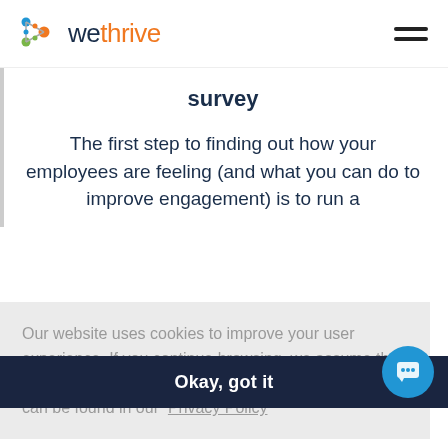wethrive
survey
The first step to finding out how your employees are feeling (and what you can do to improve engagement) is to run a
Our website uses cookies to improve your user experience. If you continue browsing, we assume that you consent to our use of cookies. More information can be found in our Privacy Policy
Okay, got it
Guides